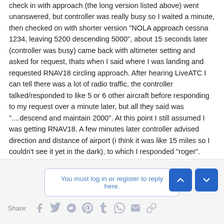check in with approach (the long version listed above) went unanswered, but controller was really busy so I waited a minute, then checked on with shorter version "NOLA approach cessna 1234, leaving 5200 descending 5000", about 15 seconds later (controller was busy) came back with altimeter setting and asked for request, thats when I said where I was landing and requested RNAV18 circling approach. After hearing LiveATC I can tell there was a lot of radio traffic, the controller talked/responded to like 5 or 6 other aircraft before responding to my request over a minute later, but all they said was "....descend and maintain 2000". At this point I still assumed I was getting RNAV18. A few minutes later controller advised direction and distance of airport (i think it was like 15 miles so I couldn't see it yet in the dark), to which I responded "roger". Then a couple minutes later, controllers asked if I had the airport in sight, and when I said I did, I was approved for visual approach. I accepted the visual approach, thanked the controller and canceled IFR.
You must log in or register to reply here.
Share: